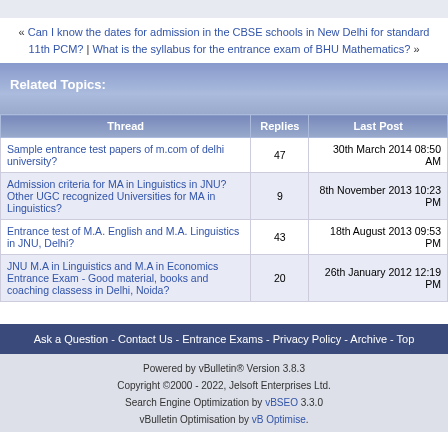« Can I know the dates for admission in the CBSE schools in New Delhi for standard 11th PCM? | What is the syllabus for the entrance exam of BHU Mathematics? »
Related Topics:
| Thread | Replies | Last Post |
| --- | --- | --- |
| Sample entrance test papers of m.com of delhi university? | 47 | 30th March 2014 08:50 AM |
| Admission criteria for MA in Linguistics in JNU? Other UGC recognized Universities for MA in Linguistics? | 9 | 8th November 2013 10:23 PM |
| Entrance test of M.A. English and M.A. Linguistics in JNU, Delhi? | 43 | 18th August 2013 09:53 PM |
| JNU M.A in Linguistics and M.A in Economics Entrance Exam - Good material, books and coaching classess in Delhi, Noida? | 20 | 26th January 2012 12:19 PM |
Ask a Question - Contact Us - Entrance Exams - Privacy Policy - Archive - Top
Powered by vBulletin® Version 3.8.3 Copyright ©2000 - 2022, Jelsoft Enterprises Ltd. Search Engine Optimization by vBSEO 3.3.0 vBulletin Optimisation by vB Optimise.